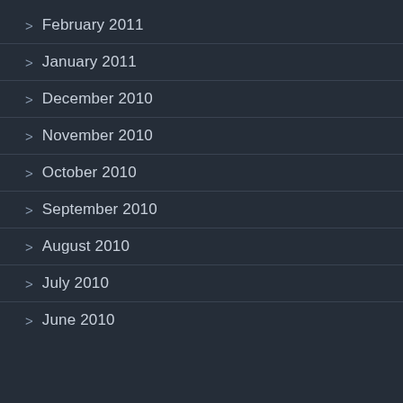> February 2011
> January 2011
> December 2010
> November 2010
> October 2010
> September 2010
> August 2010
> July 2010
> June 2010